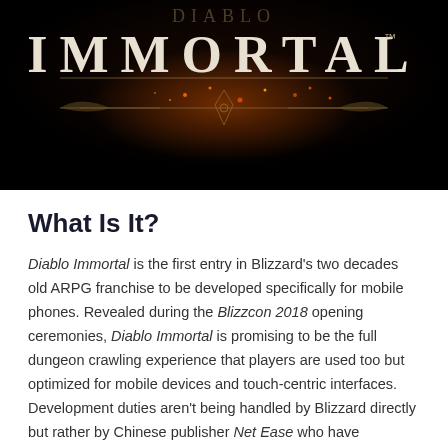[Figure (photo): Diablo Immortal game logo on a dark black background with orange glowing accents and decorative sword/symbol elements]
What Is It?
Diablo Immortal is the first entry in Blizzard's two decades old ARPG franchise to be developed specifically for mobile phones. Revealed during the Blizzcon 2018 opening ceremonies, Diablo Immortal is promising to be the full dungeon crawling experience that players are used too but optimized for mobile devices and touch-centric interfaces. Development duties aren't being handled by Blizzard directly but rather by Chinese publisher Net Ease who have published Minecraft in China, as well as the popular mobile Battle Royale, games Knives Out and Rules of Survival.